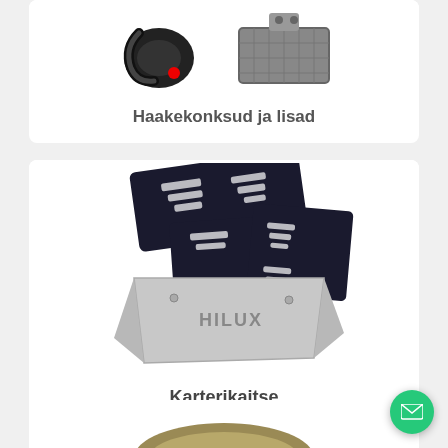[Figure (photo): Tow hooks and accessories product photo showing a black tow hook and a step/footrest accessory]
Haakekonksud ja lisad
[Figure (photo): Skid plate / carter protection product photo showing black multi-piece skid plates and a silver Hilux-branded skid plate]
Karterikaitse
[Figure (photo): Partial view of another product category card at bottom of page]